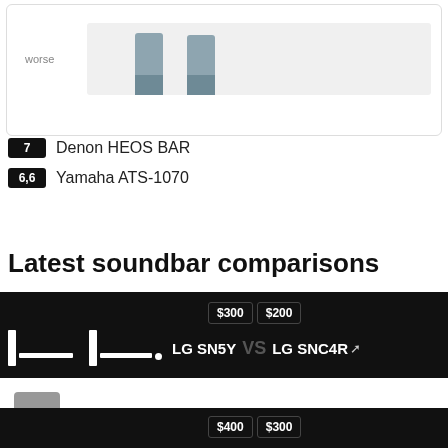[Figure (bar-chart): Partial bar chart showing two bars for Denon HEOS BAR and Yamaha ATS-1070 comparison, with 'worse' label on y-axis]
7 Denon HEOS BAR
6,6 Yamaha ATS-1070
Latest soundbar comparisons
[Figure (infographic): Soundbar comparison card: LG SN5Y ($300) VS LG SNC4R ($200) with soundbar silhouette icons on black background]
[Figure (infographic): Scroll to top button (gray background with up arrow)]
[Figure (infographic): Partial second comparison card showing $400 and $300 price badges on black background]